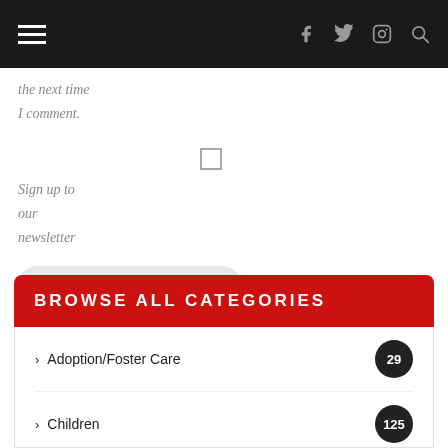Navigation bar with hamburger menu and social icons (facebook, twitter, instagram, search)
the next time I comment.
Sign up to our newsletter
POST COMMENT
BROWSE ALL CATEGORIES
> Adoption/Foster Care   29
> Children   125